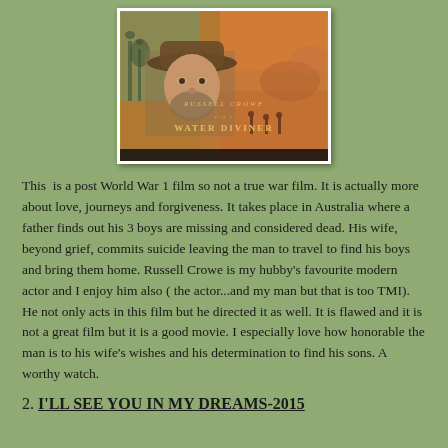[Figure (photo): Movie poster for 'The Water Diviner' featuring Russell Crowe in a hat, with desert and war imagery in the background and golden text reading 'RUSSELL CROWE THE WATER DIVINER']
This is a post World War 1 film so not a true war film. It is actually more about love, journeys and forgiveness. It takes place in Australia where a father finds out his 3 boys are missing and considered dead. His wife, beyond grief, commits suicide leaving the man to travel to find his boys and bring them home. Russell Crowe is my hubby's favourite modern actor and I enjoy him also (the actor...and my man but that is too TMI). He not only acts in this film but he directed it as well. It is flawed and it is not a great film but it is a good movie. I especially love how honorable the man is to his wife's wishes and his determination to find his sons. A worthy watch.
2. I'LL SEE YOU IN MY DREAMS-2015